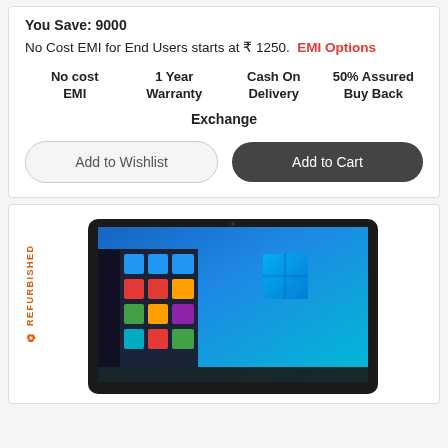You Save: 9000
No Cost EMI for End Users starts at ₹ 1250. EMI Options
No cost EMI | 1 Year Warranty | Cash On Delivery | 50% Assured Buy Back
Exchange
Add to Wishlist
Add to Cart
[Figure (photo): Laptop showing Windows 10 desktop with Start menu open, on a dark chassis. Refurbished label on the left side.]